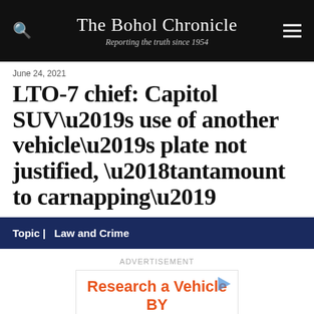The Bohol Chronicle — Reporting the truth since 1954
June 24, 2021
LTO-7 chief: Capitol SUV’s use of another vehicle’s plate not justified, ‘tantamount to carnapping’
Topic | Law and Crime
ADVERTISEMENT
[Figure (other): Advertisement banner for vehicle research by VIN Number service, with orange bold text and a play button icon. Below is a smaller box reading 'Learn more about a vehicle you plan to buy'.]